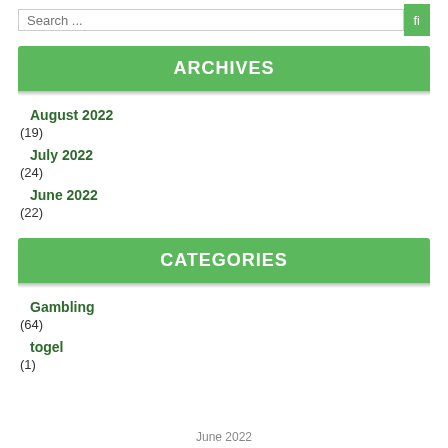ARCHIVES
August 2022
(19)
July 2022
(24)
June 2022
(22)
CATEGORIES
Gambling
(64)
togel
(1)
June 2022